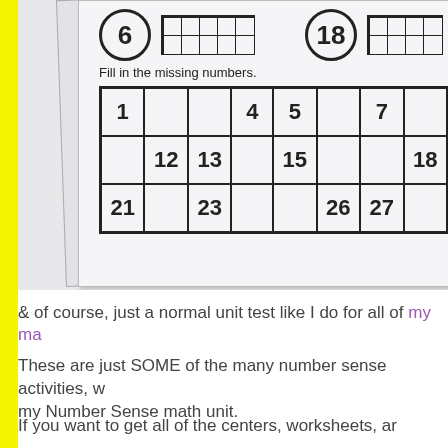[Figure (photo): A photograph of a worksheet showing a number sense activity. The worksheet has circled numbers 6 and 18 with small grids next to them, instructions to 'Fill in the missing numbers', and a table with numbers 1, 4, 5, 7, 12, 13, 15, 18, 21, 23, 26, 27 filled in with blank cells for missing numbers.]
& of course, just a normal unit test like I do for all of my ma
These are just SOME of the many number sense activities, worksheets, and assessments included in my Number Sense math unit.
If you want to get all of the centers, worksheets, ar